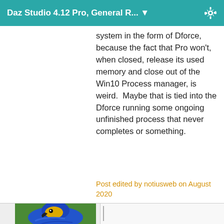Daz Studio 4.12 Pro, General R... ▼
system in the form of Dforce, because the fact that Pro won't, when closed, release its used memory and close out of the Win10 Process manager, is weird.  Maybe that is tied into the Dforce running some ongoing unfinished process that never completes or something.
Post edited by notiusweb on August 2020
[Figure (photo): Partial view of a blue and yellow macaw parrot against a green background, visible at the bottom of the page]